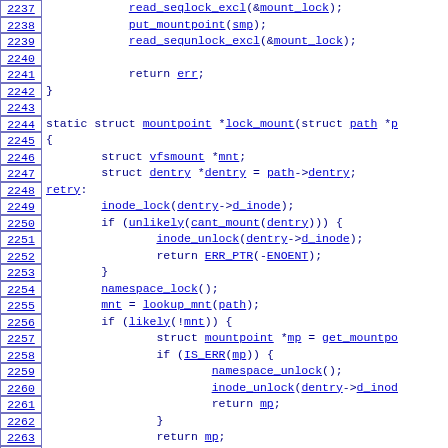[Figure (screenshot): Source code viewer showing C code lines 2237-2266 with line numbers in bordered boxes on the left and syntax-highlighted code on the right. Functions and identifiers are underlined and shown in blue/dark blue monospace font.]